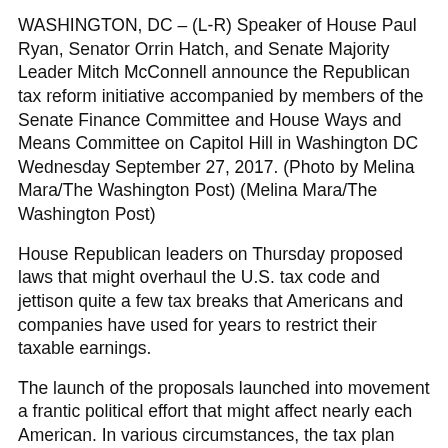WASHINGTON, DC – (L-R) Speaker of House Paul Ryan, Senator Orrin Hatch, and Senate Majority Leader Mitch McConnell announce the Republican tax reform initiative accompanied by members of the Senate Finance Committee and House Ways and Means Committee on Capitol Hill in Washington DC Wednesday September 27, 2017. (Photo by Melina Mara/The Washington Post) (Melina Mara/The Washington Post)
House Republican leaders on Thursday proposed laws that might overhaul the U.S. tax code and jettison quite a few tax breaks that Americans and companies have used for years to restrict their taxable earnings.
The launch of the proposals launched into movement a frantic political effort that might affect nearly each American. In various circumstances, the tax plan cuts again on tax advantages for households and people whereas increasing tax advantages for corporations.
The Tax Cuts and Jobs Act would decrease the company tax price from 35 % to 20 % and collapse the seven tax brackets paid by households and people right down to 4. It may create large new advantages for the rich, chopping enterprise taxes